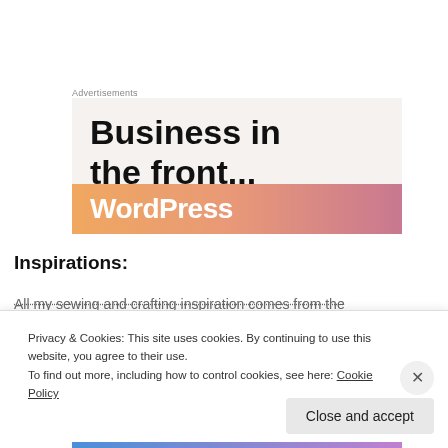Advertisements
[Figure (screenshot): WordPress advertisement banner with text 'Business in the front...' on light beige background, with orange-pink gradient bar at bottom showing 'WordPress' text]
Inspirations:
All my sewing and crafting inspiration comes from the
Privacy & Cookies: This site uses cookies. By continuing to use this website, you agree to their use.
To find out more, including how to control cookies, see here: Cookie Policy
Close and accept